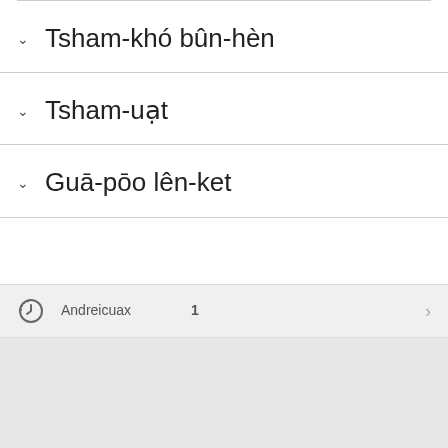Tsham-khó bûn-hèn
Tsham-uặt
Guā-pōo lên-ket
Andreicuax　　　　 1